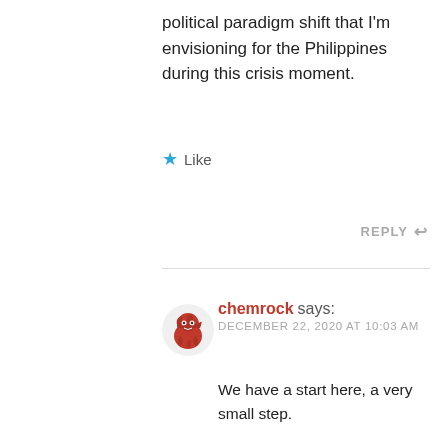political paradigm shift that I'm envisioning for the Philippines during this crisis moment.
Like
REPLY
chemrock says:
DECEMBER 22, 2020 AT 10:03 AM
We have a start here, a very small step.

Let's decouple the pandemic situation from MMT implementation. Let's just focus on MMT. As I said, I appreciate the theories, but to me, advocators are coming up short on the practice side. I want to see how it will be